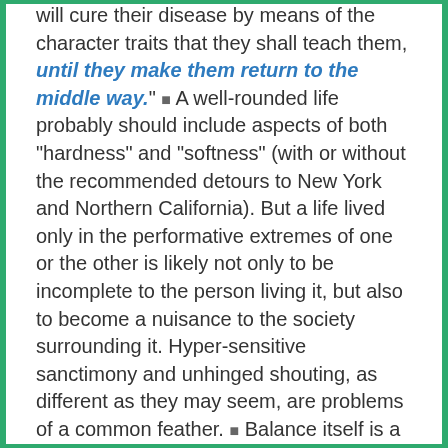will cure their disease by means of the character traits that they shall teach them, until they make them return to the middle way." ■ A well-rounded life probably should include aspects of both "hardness" and "softness" (with or without the recommended detours to New York and Northern California). But a life lived only in the performative extremes of one or the other is likely not only to be incomplete to the person living it, but also to become a nuisance to the society surrounding it. Hyper-sensitive sanctimony and unhinged shouting, as different as they may seem, are problems of a common feather. ■ Balance itself is a virtue. If we don't reward it and expect it from those around us, we shouldn't be surprised if basic mutual understanding teeters much too close to the brink of a cliff. No amount of sunscreen can